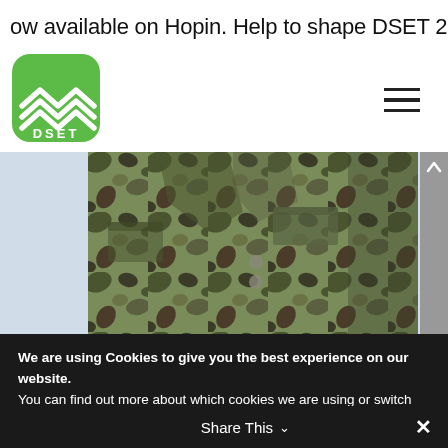ow available on Hopin. Help to shape DSET 202
[Figure (logo): DSET logo — green rounded square with three white wave/chevron stripes and 'DSET' text below]
[Figure (photo): Close-up photograph of military camouflage uniform jacket]
We are using Cookies to give you the best experience on our website.
You can find out more about which cookies we are using or switch them off in settings.
Accept
Share This ∨
✕